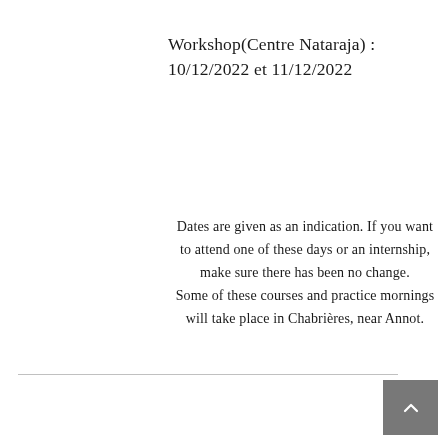Workshop(Centre Nataraja) : 10/12/2022 et 11/12/2022
Dates are given as an indication. If you want to attend one of these days or an internship, make sure there has been no change. Some of these courses and practice mornings will take place in Chabrières, near Annot.